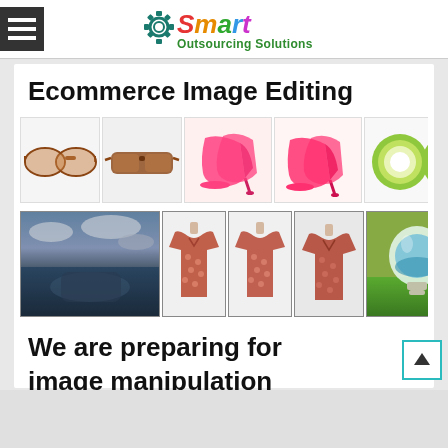Smart Outsourcing Solutions
Ecommerce Image Editing
[Figure (photo): Row of ecommerce product photos: sunglasses (before/after), pink high heels (before/after), green cosmetic jars (before/after)]
[Figure (photo): Row of image manipulation examples: dramatic ocean scene, pink floral shirts on mannequins (front view), pink floral shirt on mannequin (back view), light bulb with nature scene inside]
We are preparing for image manipulation